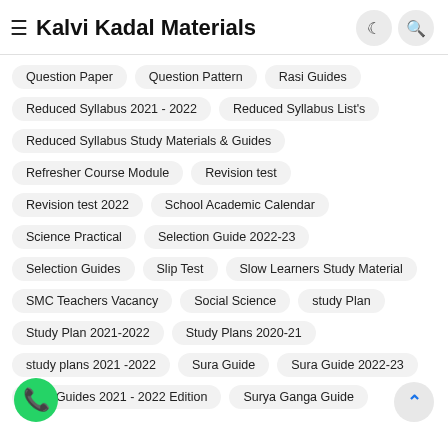Kalvi Kadal Materials
Question Paper
Question Pattern
Rasi Guides
Reduced Syllabus 2021 - 2022
Reduced Syllabus List's
Reduced Syllabus Study Materials & Guides
Refresher Course Module
Revision test
Revision test 2022
School Academic Calendar
Science Practical
Selection Guide 2022-23
Selection Guides
Slip Test
Slow Learners Study Material
SMC Teachers Vacancy
Social Science
study Plan
Study Plan 2021-2022
Study Plans 2020-21
study plans 2021 -2022
Sura Guide
Sura Guide 2022-23
Sura Guides 2021 - 2022 Edition
Surya Ganga Guide